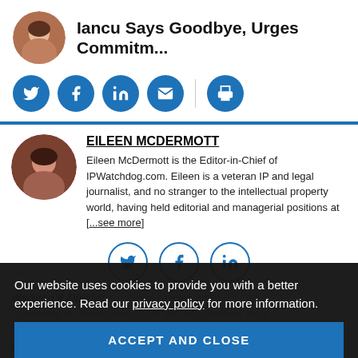Iancu Says Goodbye, Urges Commitm...
[Figure (photo): Circular avatar photo of a woman with brown hair]
[Figure (infographic): Social sharing buttons: Twitter, Facebook, LinkedIn, Email, Print (filled blue circles)]
EILEEN MCDERMOTT
[Figure (photo): Circular portrait photo of Eileen McDermott]
Eileen McDermott is the Editor-in-Chief of IPWatchdog.com. Eileen is a veteran IP and legal journalist, and no stranger to the intellectual property world, having held editorial and managerial positions at [...see more]
[Figure (infographic): Author social sharing buttons: Twitter, Facebook, LinkedIn (outline blue circles)]
Our website uses cookies to provide you with a better experience. Read our privacy policy for more information.
ACCEPT AND CLOSE
Warning & Disclaimer: The pages, articles and comments on IPWatchdog.com do not constitute legal advice, nor do they create any attorney-client relationship. The articles published express the personal opinion and views of the author as of the time